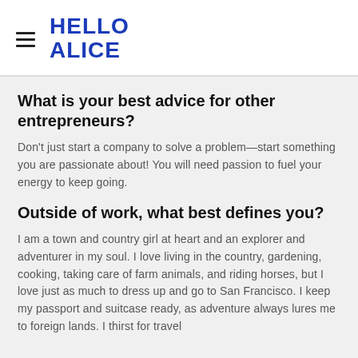HELLO ALICE
What is your best advice for other entrepreneurs?
Don't just start a company to solve a problem—start something you are passionate about! You will need passion to fuel your energy to keep going.
Outside of work, what best defines you?
I am a town and country girl at heart and an explorer and adventurer in my soul. I love living in the country, gardening, cooking, taking care of farm animals, and riding horses, but I love just as much to dress up and go to San Francisco. I keep my passport and suitcase ready, as adventure always lures me to foreign lands. I thirst for travel